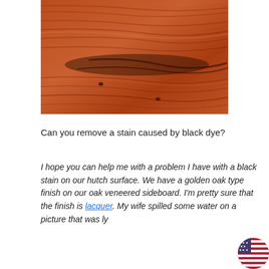[Figure (photo): Close-up photograph of a wooden surface with reddish-brown finish showing wood grain patterns, dark streaks, and a water stain mark.]
Can you remove a stain caused by black dye?
I hope you can help me with a problem I have with a black stain on our hutch surface. We have a golden oak type finish on our oak veneered sideboard. I'm pretty sure that the finish is lacquer. My wife spilled some water on a picture that was ly